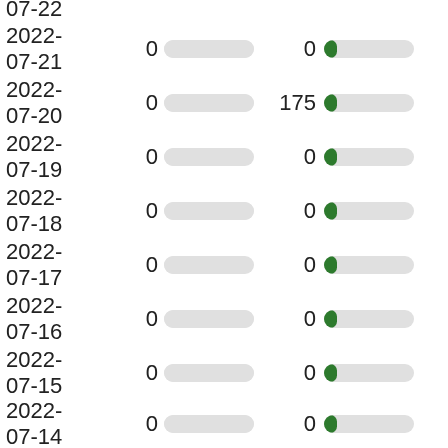| Date | Value1 | Bar1 | Value2 | Bar2 |
| --- | --- | --- | --- | --- |
| 07-22 (partial) |  |  |  |  |
| 2022-07-21 | 0 |  | 0 |  |
| 2022-07-20 | 0 |  | 175 |  |
| 2022-07-19 | 0 |  | 0 |  |
| 2022-07-18 | 0 |  | 0 |  |
| 2022-07-17 | 0 |  | 0 |  |
| 2022-07-16 | 0 |  | 0 |  |
| 2022-07-15 | 0 |  | 0 |  |
| 2022-07-14 | 0 |  | 0 |  |